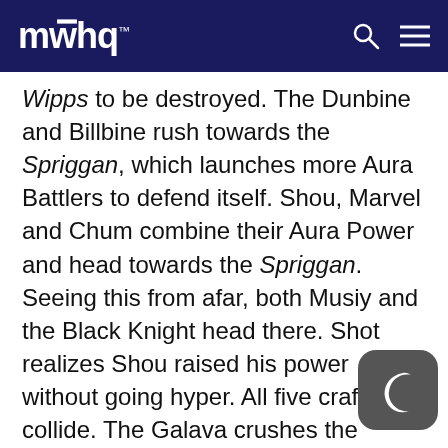MAHQ
Wipps to be destroyed. The Dunbine and Billbine rush towards the Spriggan, which launches more Aura Battlers to defend itself. Shou, Marvel and Chum combine their Aura Power and head towards the Spriggan. Seeing this from afar, both Musiy and the Black Knight head there. Shot realizes Shou raised his power without going hyper. All five crafts collide. The Galava crushes the cockpit of the Dunbine. The Billbine breaks through the cockpit of the Bubuly, knocking Musiy out. She falls into Shot's arms, but both are vaporized as the Spriggan explodes. Marvel tells Shou they did it. The Dunbine heavily damaged, Marvel tells Shou nothing is wrong and he should head to the W Wipps. Severely injured, Marvel is no match for Black Knight, who blows up the Dunbine, killing her.